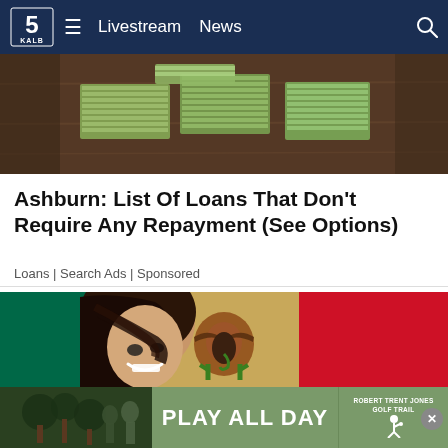5 KALB | Livestream | News
[Figure (photo): Stack of US dollar bills/money piles on a wooden surface, viewed from above]
Ashburn: List Of Loans That Don't Require Any Repayment (See Options)
Loans | Search Ads | Sponsored
[Figure (photo): Smiling woman with dark hair blowing across her face against Mexican flag background (green, white, red with eagle emblem)]
[Figure (infographic): Advertisement banner: PLAY ALL DAY - Robert Trent Jones Golf Trail]